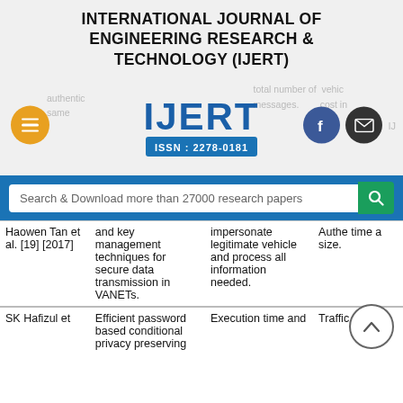INTERNATIONAL JOURNAL OF ENGINEERING RESEARCH & TECHNOLOGY (IJERT)
[Figure (logo): IJERT logo with ISSN 2278-0181, hamburger menu icon, Facebook icon, email icon, and partial background text about total number of vehicle messages and cost]
[Figure (other): Search bar: Search & Download more than 27000 research papers]
| Author | Method | Attack | Result |
| --- | --- | --- | --- |
| Haowen Tan et al. [19] [2017] | and key management techniques for secure data transmission in VANETs. | impersonate legitimate vehicle and process all information needed. | Authentication time and size. |
| SK Hafizul et | Efficient password based conditional privacy preserving | Execution time and | Traffic efficacy |